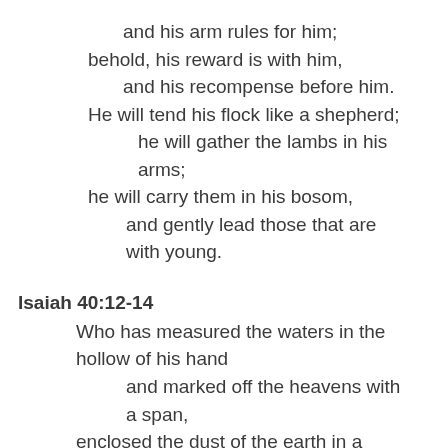and his arm rules for him;
behold, his reward is with him,
and his recompense before him.
He will tend his flock like a shepherd;
he will gather the lambs in his arms;
he will carry them in his bosom,
and gently lead those that are with young.
Isaiah 40:12-14
Who has measured the waters in the hollow of his hand
and marked off the heavens with a span,
enclosed the dust of the earth in a measure
and weighed the mountains in